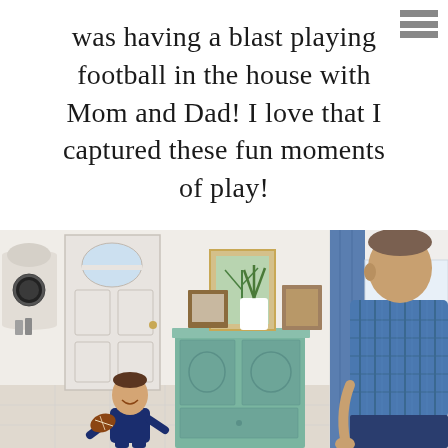was having a blast playing football in the house with Mom and Dad! I love that I captured these fun moments of play!
[Figure (photo): A young toddler in a navy outfit laughing and catching/throwing a football in a home entryway with a teal cabinet decorated with plants and frames; a man in a blue plaid shirt leans toward a window on the right side.]